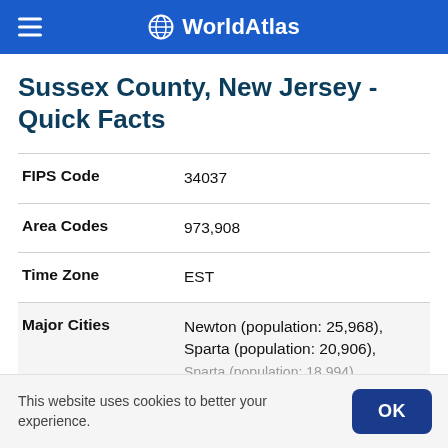WorldAtlas
Sussex County, New Jersey - Quick Facts
| Field | Value |
| --- | --- |
| FIPS Code | 34037 |
| Area Codes | 973,908 |
| Time Zone | EST |
| Major Cities | Newton (population: 25,968), Sparta (population: 20,906), Sparta (population: 18,994) |
This website uses cookies to better your experience.